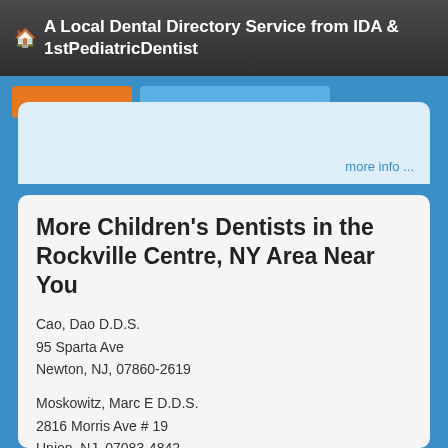A Local Dental Directory Service from IDA & 1stPediatricDentist
More Children's Dentists in the Rockville Centre, NY Area Near You
Cao, Dao D.D.S.
95 Sparta Ave
Newton, NJ, 07860-2619
Moskowitz, Marc E D.D.S.
2816 Morris Ave # 19
Union, NJ, 07083-4842
Doctor - Activate Your Free 1stPediatricDentist Directory Listing
Ribolow, Ginnine S D.D.S.